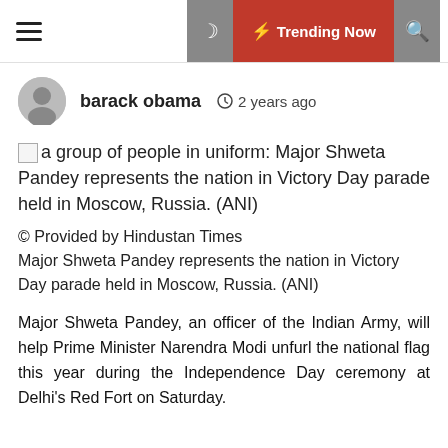Trending Now
barack obama  2 years ago
[Figure (photo): Broken image placeholder with alt text: a group of people in uniform: Major Shweta Pandey represents the nation in Victory Day parade held in Moscow, Russia. (ANI)]
a group of people in uniform: Major Shweta Pandey represents the nation in Victory Day parade held in Moscow, Russia. (ANI)
© Provided by Hindustan Times
Major Shweta Pandey represents the nation in Victory Day parade held in Moscow, Russia. (ANI)
Major Shweta Pandey, an officer of the Indian Army, will help Prime Minister Narendra Modi unfurl the national flag this year during the Independence Day ceremony at Delhi's Red Fort on Saturday.